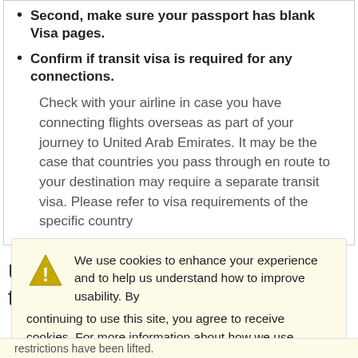Second, make sure your passport has blank Visa pages.
Confirm if transit visa is required for any connections.
Check with your airline in case you have connecting flights overseas as part of your journey to United Arab Emirates. It may be the case that countries you pass through en route to your destination may require a separate transit visa. Please refer to visa requirements of the specific country
United Arab Emirates COVID-19 travel
We use cookies to enhance your experience and to help us understand how to improve usability. By continuing to use this site, you agree to receive cookies. For more information about how we use cookies please read our privacy policy.
OK
restrictions have been lifted.